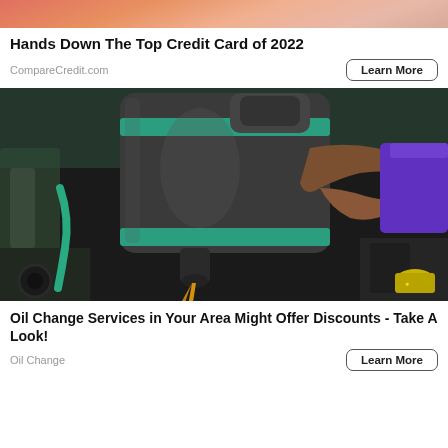[Figure (photo): Partial top image of advertisement, pink/orange background with person]
Hands Down The Top Credit Card of 2022
CompareCredit.com
[Figure (photo): Person pouring motor oil from a large dark grey and teal container into a car engine, golden amber oil stream visible]
Oil Change Services in Your Area Might Offer Discounts - Take A Look!
Oil Change